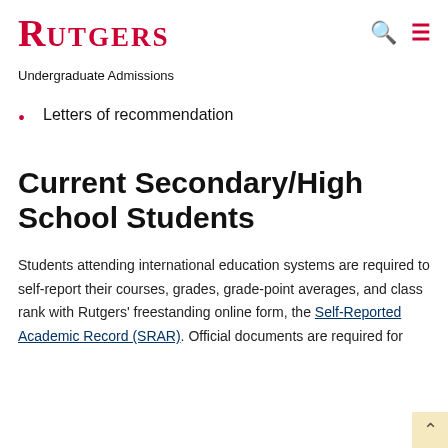RUTGERS
Undergraduate Admissions
Letters of recommendation
Current Secondary/High School Students
Students attending international education systems are required to self-report their courses, grades, grade-point averages, and class rank with Rutgers' freestanding online form, the Self-Reported Academic Record (SRAR). Official documents are required for